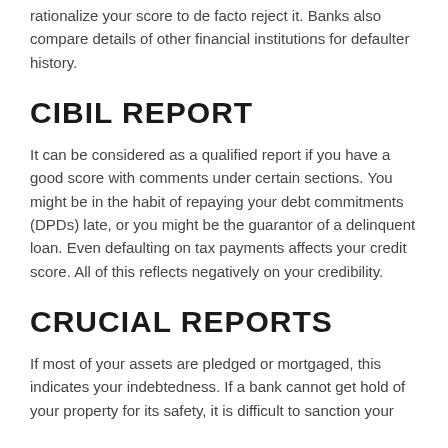rationalize your score to de facto reject it. Banks also compare details of other financial institutions for defaulter history.
CIBIL REPORT
It can be considered as a qualified report if you have a good score with comments under certain sections. You might be in the habit of repaying your debt commitments (DPDs) late, or you might be the guarantor of a delinquent loan. Even defaulting on tax payments affects your credit score. All of this reflects negatively on your credibility.
CRUCIAL REPORTS
If most of your assets are pledged or mortgaged, this indicates your indebtedness. If a bank cannot get hold of your property for its safety, it is difficult to sanction your